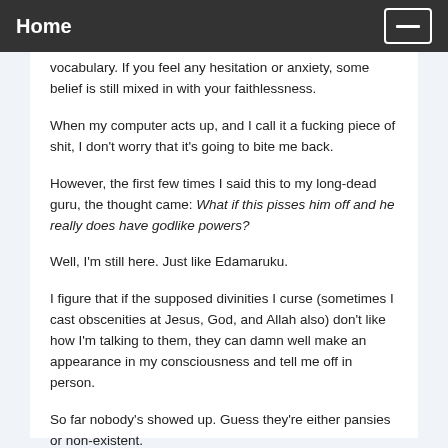Home
vocabulary. If you feel any hesitation or anxiety, some belief is still mixed in with your faithlessness.
When my computer acts up, and I call it a fucking piece of shit, I don't worry that it's going to bite me back.
However, the first few times I said this to my long-dead guru, the thought came: What if this pisses him off and he really does have godlike powers?
Well, I'm still here. Just like Edamaruku.
I figure that if the supposed divinities I curse (sometimes I cast obscenities at Jesus, God, and Allah also) don't like how I'm talking to them, they can damn well make an appearance in my consciousness and tell me off in person.
So far nobody's showed up. Guess they're either pansies or non-existent.
I enjoyed the comments on the Pharyngula post. Here's some of my favorites (#15, #21, #27, #41).